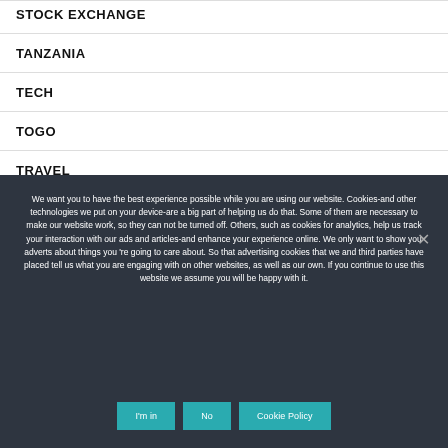STOCK EXCHANGE
TANZANIA
TECH
TOGO
TRAVEL
We want you to have the best experience possible while you are using our website. Cookies-and other technologies we put on your device-are a big part of helping us do that. Some of them are necessary to make our website work, so they can not be turned off. Others, such as cookies for analytics, help us track your interaction with our ads and articles-and enhance your experience online. We only want to show you adverts about things you 're going to care about. So that advertising cookies that we and third parties have placed tell us what you are engaging with on other websites, as well as our own. If you continue to use this website we assume you will be happy with it.